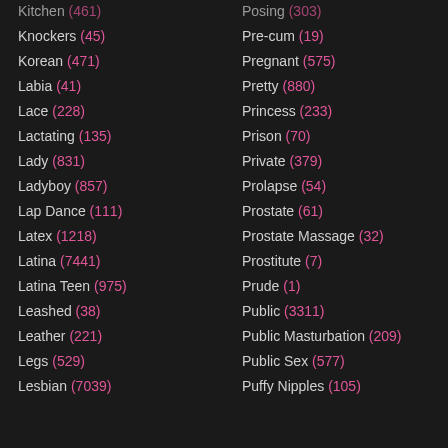Kitchen (461)
Knockers (45)
Korean (471)
Labia (41)
Lace (228)
Lactating (135)
Lady (831)
Ladyboy (857)
Lap Dance (111)
Latex (1218)
Latina (7441)
Latina Teen (975)
Leashed (38)
Leather (221)
Legs (529)
Lesbian (7039)
Posing (303)
Pre-cum (19)
Pregnant (575)
Pretty (880)
Princess (233)
Prison (70)
Private (379)
Prolapse (54)
Prostate (61)
Prostate Massage (32)
Prostitute (7)
Prude (1)
Public (3311)
Public Masturbation (209)
Public Sex (577)
Puffy Nipples (105)